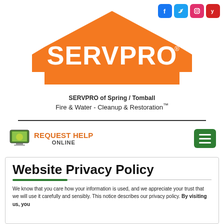[Figure (logo): SERVPRO orange house-shaped logo with white SERVPRO text and registered trademark symbol]
[Figure (infographic): Social media icons: Facebook (blue), Twitter (blue), Instagram (pink/red), Yelp (red)]
SERVPRO of Spring / Tomball
Fire & Water - Cleanup & Restoration™
[Figure (infographic): REQUEST HELP ONLINE button with computer monitor icon]
[Figure (infographic): Hamburger menu button (green)]
Website Privacy Policy
We know that you care how your information is used, and we appreciate your trust that we will use it carefully and sensibly. This notice describes our privacy policy. By visiting us, you